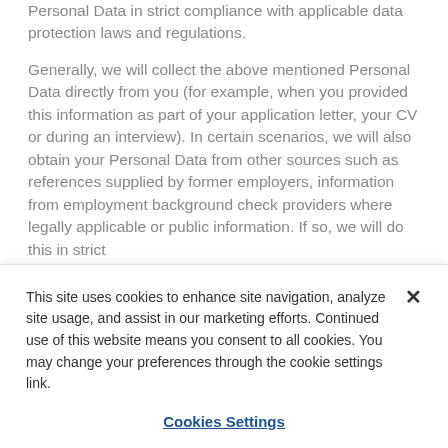Personal Data in strict compliance with applicable data protection laws and regulations.
Generally, we will collect the above mentioned Personal Data directly from you (for example, when you provided this information as part of your application letter, your CV or during an interview). In certain scenarios, we will also obtain your Personal Data from other sources such as references supplied by former employers, information from employment background check providers where legally applicable or public information. If so, we will do this in strict
This site uses cookies to enhance site navigation, analyze site usage, and assist in our marketing efforts. Continued use of this website means you consent to all cookies. You may change your preferences through the cookie settings link.
Cookies Settings